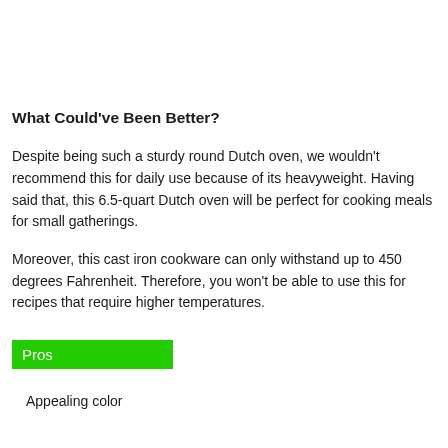What Could've Been Better?
Despite being such a sturdy round Dutch oven, we wouldn't recommend this for daily use because of its heavyweight. Having said that, this 6.5-quart Dutch oven will be perfect for cooking meals for small gatherings.
Moreover, this cast iron cookware can only withstand up to 450 degrees Fahrenheit. Therefore, you won't be able to use this for recipes that require higher temperatures.
Pros
Appealing color